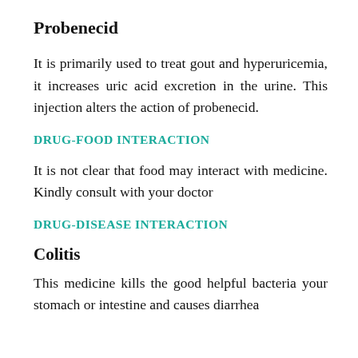Probenecid
It is primarily used to treat gout and hyperuricemia, it increases uric acid excretion in the urine. This injection alters the action of probenecid.
DRUG-FOOD INTERACTION
It is not clear that food may interact with medicine. Kindly consult with your doctor
DRUG-DISEASE INTERACTION
Colitis
This medicine kills the good helpful bacteria your stomach or intestine and causes diarrhea